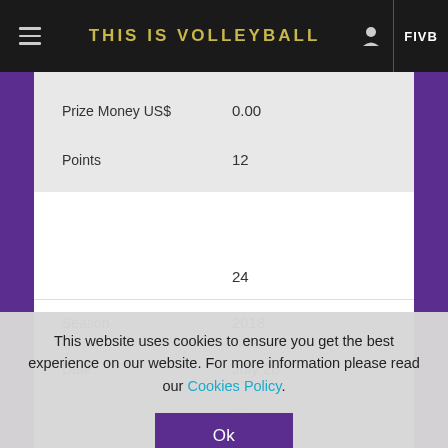THIS IS VOLLEYBALL
| Field | Value |
| --- | --- |
| Prize Money US$ | 0.00 |
| Points | 12 |
|  | 24 |
| Season | 2018 |
| Date | July 28 |
| Type | NT |
| Tournament |  |
| Partners | Katar... |
This website uses cookies to ensure you get the best experience on our website. For more information please read our Cookies Policy.
Ok